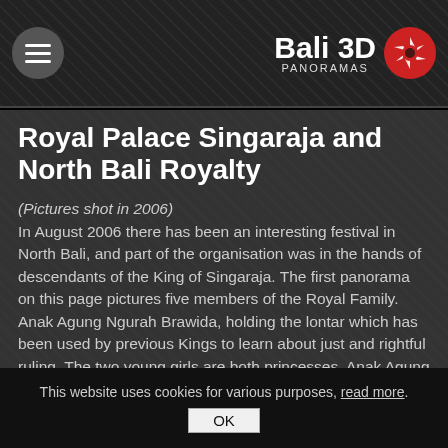Bali 3D PANORAMAS
Royal Palace Singaraja and North Bali Royalty
(Pictures shot in 2006) In August 2006 there has been an interesting festival in North Bali, and part of the organisation was in the hands of descendants of the King of Singaraja. The first panorama on this page pictures five members of the Royal Family. Anak Agung Ngurah Brawida, holding the lontar which has been used by previous Kings to learn about just and rightful ruling. The two young girls are both princesses, Anak Agung Ayu Rahmi and I Gusti Ayu Mega Sari Giri Putri. The two other women are I Gusti Ayu Ngurah Asi Wikanti and I Gusti Ayu Ngurah Ari Wilasti.
This website uses cookies for various purposes, read more. OK